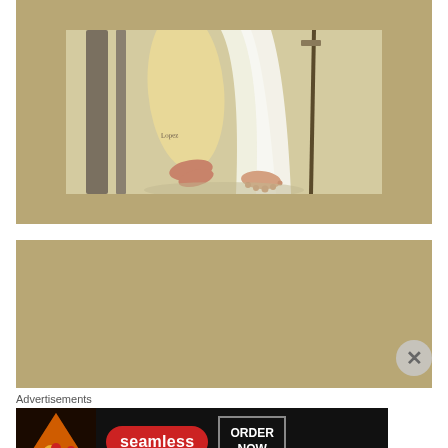[Figure (photo): Framed religious painting showing lower portion of a robed figure (likely Jesus) walking barefoot, wearing white and cream robes, with a sword visible. Wooden frame surrounds the painting.]
[Figure (photo): Second framed religious painting with wooden frame, showing the top of a figure with golden crown/halo against dark background. Frame with inner bevel detail visible.]
Advertisements
[Figure (screenshot): Seamless food delivery advertisement banner. Shows pizza image on left, Seamless logo in red pill shape in center, and 'ORDER NOW' button on right against dark background.]